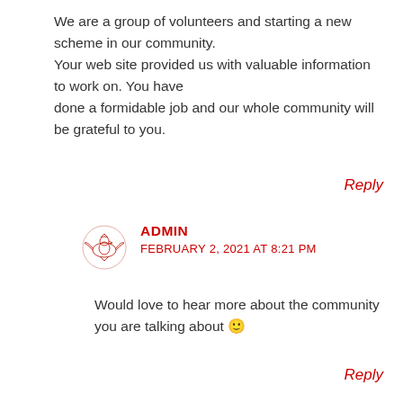We are a group of volunteers and starting a new scheme in our community.
Your web site provided us with valuable information to work on. You have
done a formidable job and our whole community will be grateful to you.
Reply
ADMIN
FEBRUARY 2, 2021 AT 8:21 PM
Would love to hear more about the community you are talking about 🙂
Reply